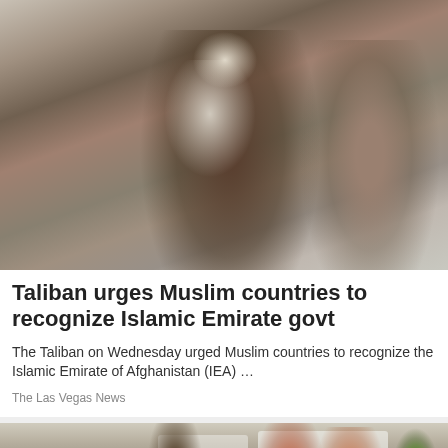[Figure (photo): Photograph of two men in traditional Afghan/Islamic dress walking together. The man on the left wears a white turban and has a beard, dressed in white shalwar kameez with a white scarf. The man on the right has his face blurred/pixelated and wears a tan vest. Other men are visible in the background.]
Taliban urges Muslim countries to recognize Islamic Emirate govt
The Taliban on Wednesday urged Muslim countries to recognize the Islamic Emirate of Afghanistan (IEA) …
The Las Vegas News
[Figure (photo): Photograph showing a man in a blue vest carrying a large blue bag (appears to be a UNHCR/UN humanitarian aid bag), with women in full-body covering (burqa) visible to the right, and white tents in the background, suggesting a refugee or humanitarian aid distribution scene.]